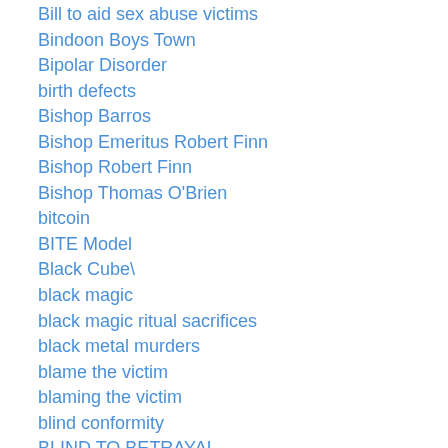Bill to aid sex abuse victims
Bindoon Boys Town
Bipolar Disorder
birth defects
Bishop Barros
Bishop Emeritus Robert Finn
Bishop Robert Finn
Bishop Thomas O'Brien
bitcoin
BITE Model
Black Cube\
black magic
black magic ritual sacrifices
black metal murders
blame the victim
blaming the victim
blind conformity
BLIND TO BETRAYAL
block child-sex law reform
Blood in the Woods